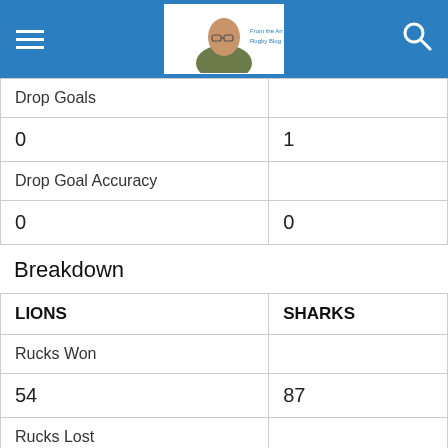| Drop Goals |  |
| 0 | 1 |
| Drop Goal Accuracy |  |
| 0 | 0 |
Breakdown
| LIONS | SHARKS |
| --- | --- |
| Rucks Won |  |
| 54 | 87 |
| Rucks Lost |  |
| 4 | 3 |
| Ruck Won % |  |
| 93% | 97% |